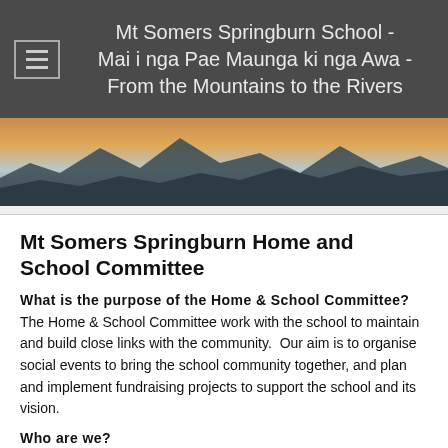Mt Somers Springburn School - Mai i nga Pae Maunga ki nga Awa - From the Mountains to the Rivers
[Figure (photo): Landscape photo of mountains at dusk with warm sky gradient]
Mt Somers Springburn Home and School Committee
What is the purpose of the Home & School Committee?
The Home & School Committee work with the school to maintain and build close links with the community.  Our aim is to organise social events to bring the school community together, and plan and implement fundraising projects to support the school and its vision.
Who are we?
We're an active volunteer group of parents and guardians who work